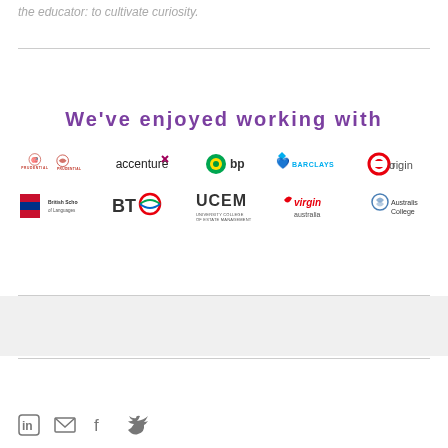the educator: to cultivate curiosity.
We've enjoyed working with
[Figure (logo): Logos of partner organizations: Prudential, Accenture, bp, Barclays, Origin, British School of Languages, BT, UCEM, Virgin Australia, Australis College]
LinkedIn, Email, Facebook, Twitter social icons